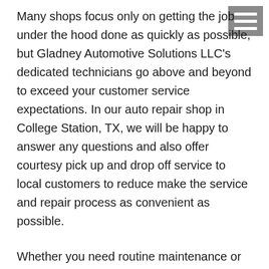[Figure (other): Hamburger menu icon (three horizontal white bars on grey background) in top-right corner]
Many shops focus only on getting the job under the hood done as quickly as possible, but Gladney Automotive Solutions LLC's dedicated technicians go above and beyond to exceed your customer service expectations. In our auto repair shop in College Station, TX, we will be happy to answer any questions and also offer courtesy pick up and drop off service to local customers to reduce make the service and repair process as convenient as possible.
Whether you need routine maintenance or repairs for major damage, the expert team of certified technicians at Gladney Automotive Solutions LLC provide top-notch service for any Audi model.
Call Gladney Automotive Solutions LLC today to speak with our knowledgeable staff or visit us at 2421 Harvey